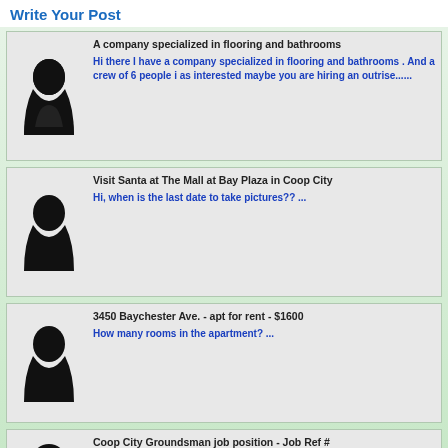Write Your Post
[Figure (illustration): User post card 1 with avatar silhouette, title: A company specialized in flooring and bathrooms, body: Hi there I have a company specialized in flooring and bathrooms . And a crew of 6 people i as interested maybe you are hiring an outrise......]
[Figure (illustration): User post card 2 with avatar silhouette, title: Visit Santa at The Mall at Bay Plaza in Coop City, body: Hi, when is the last date to take pictures?? ...]
[Figure (illustration): User post card 3 with avatar silhouette, title: 3450 Baychester Ave. - apt for rent - $1600, body: How many rooms in the apartment? ...]
[Figure (illustration): User post card 4 partial with avatar silhouette, title: Coop City Groundsman job position - Job Ref #]